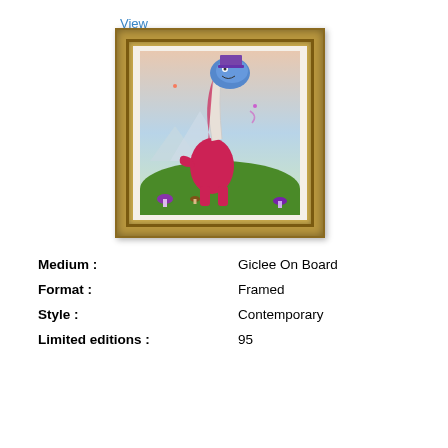View Biography
[Figure (illustration): Framed surrealist artwork showing a fantastical long-necked creature resembling a dinosaur or giraffe with a blue balloon-like head wearing a purple top hat, standing in a green landscape with colorful mushrooms and mountains in the background. The image is in an ornate gold frame.]
| Medium : | Giclee On Board |
| Format : | Framed |
| Style : | Contemporary |
| Limited editions : | 95 |